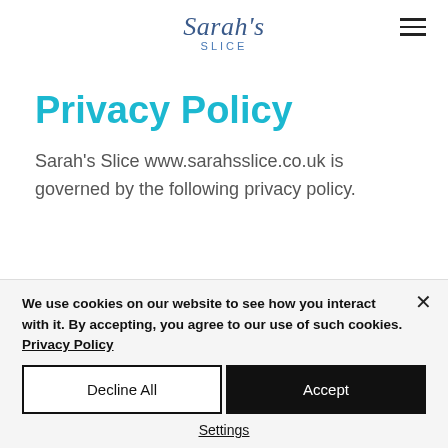Sarah's Slice
Privacy Policy
Sarah's Slice www.sarahsslice.co.uk is governed by the following privacy policy.
We use cookies on our website to see how you interact with it. By accepting, you agree to our use of such cookies. Privacy Policy
Decline All
Accept
Settings